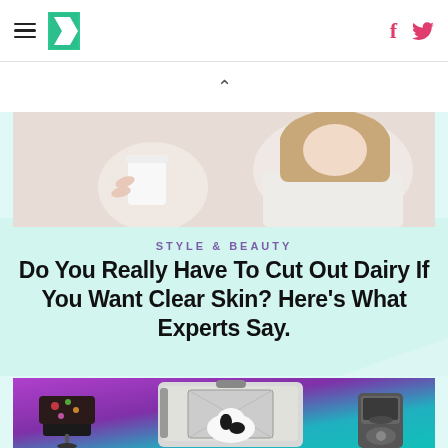HuffPost navigation with hamburger menu and social icons
[Figure (photo): Cropped photo of a woman in a white sweater holding a white cup]
STYLE & BEAUTY
Do You Really Have To Cut Out Dairy If You Want Clear Skin? Here's What Experts Say.
[Figure (photo): Product photo collage on colorful purple and teal background showing a pet crate with a black and white dog, a floral office chair, and a robot vacuum/smart trash can]